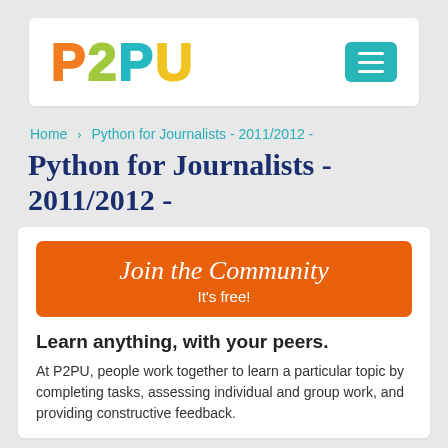[Figure (logo): P2PU logo in multicolor letters with a hamburger menu button on the right]
Home › Python for Journalists - 2011/2012 -
Python for Journalists - 2011/2012 -
[Figure (other): Orange 'Join the Community - It's free!' call-to-action button]
Learn anything, with your peers.
At P2PU, people work together to learn a particular topic by completing tasks, assessing individual and group work, and providing constructive feedback.